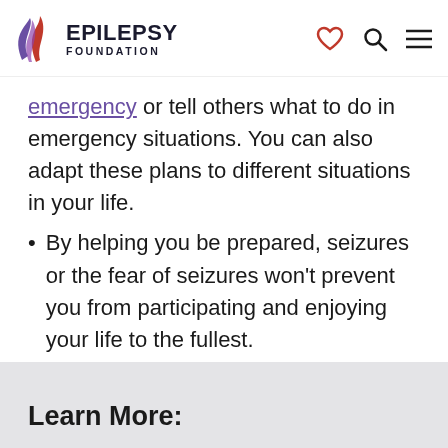[Figure (logo): Epilepsy Foundation logo with stylized flame/ribbon SVG icon and text 'EPILEPSY FOUNDATION']
emergency or tell others what to do in emergency situations. You can also adapt these plans to different situations in your life.
By helping you be prepared, seizures or the fear of seizures won't prevent you from participating and enjoying your life to the fullest.
Learn More: